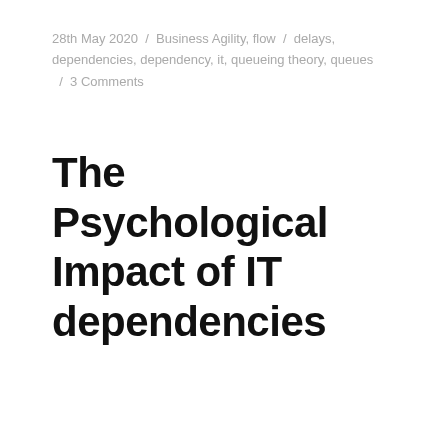28th May 2020 / Business Agility, flow / delays, dependencies, dependency, it, queueing theory, queues / 3 Comments
The Psychological Impact of IT dependencies